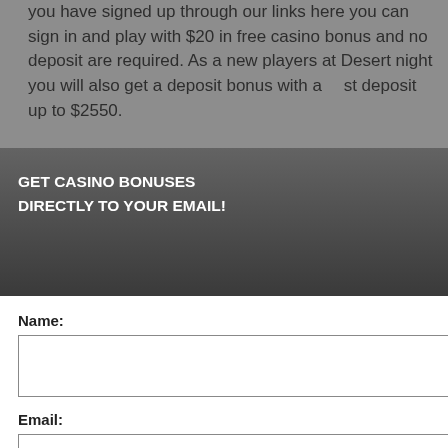you have signed up through our links here you can sign in and play with $20 in free casino bonus and no deposit are required. As a new players at Desert night you will also get a deposit bonus with a 1st deposit up to $2550.
get 100% bonus up to $1000 you get 100% casino bonus made your 2 first deposits n a $50 free bonus
O DEPOSIT CASINO
perience, we use Using this site, kie & privacy policy.
NO CASINO BONUS
[Figure (screenshot): Email signup popup modal with dark gray header reading GET CASINO BONUSES DIRECTLY TO YOUR EMAIL!, a close button (X circle), Name field, Email field, Submit button, and disclaimer text about Privacy and Cookie policy.]
By subscribing you are certifying that you have reviewed and accepted our updated Privacy and Cookie policy.